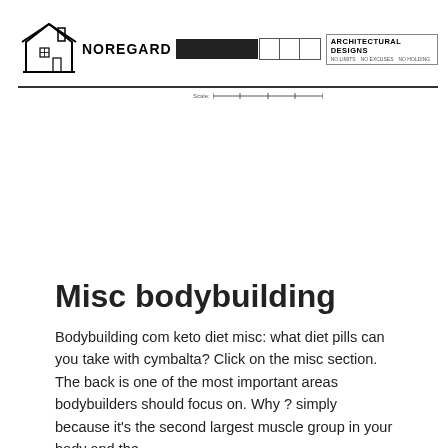NOREGARD ARCHITECTURAL DESIGNS
[Figure (logo): Noregard Architectural Designs logo with house icon, black bar, grid cells, and company name block with sub-labels]
Misc bodybuilding
Bodybuilding com keto diet misc: what diet pills can you take with cymbalta? Click on the misc section. The back is one of the most important areas bodybuilders should focus on. Why ? simply because it's the second largest muscle group in your body and the.